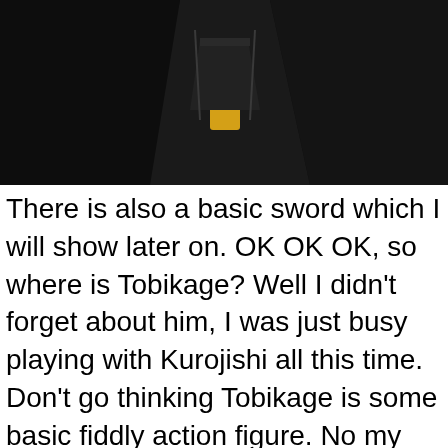[Figure (photo): Dark photograph showing what appears to be a robot or action figure with a yellow/orange highlighted element, against a black background.]
There is also a basic sword which I will show later on. OK OK OK, so where is Tobikage? Well I didn't forget about him, I was just busy playing with Kurojishi all this time. Don't go thinking Tobikage is some basic fiddly action figure. No my friend, this was designed to be as cool as any small figure could be. I was under the impression that he was going to be some cheesy PVC figure, but I was most sadly mistaken. Introducing one of the coolest Ninjas ever, Tobikage.